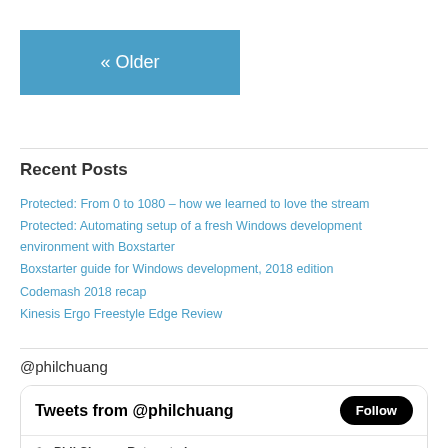« Older
Recent Posts
Protected: From 0 to 1080 – how we learned to love the stream
Protected: Automating setup of a fresh Windows development environment with Boxstarter
Boxstarter guide for Windows development, 2018 edition
Codemash 2018 recap
Kinesis Ergo Freestyle Edge Review
@philchuang
[Figure (screenshot): Twitter widget showing 'Tweets from @philchuang' header with Follow button, and a tweet row showing 'Phil Chuang Retweeted' with retweet icon, and partial avatar row below.]